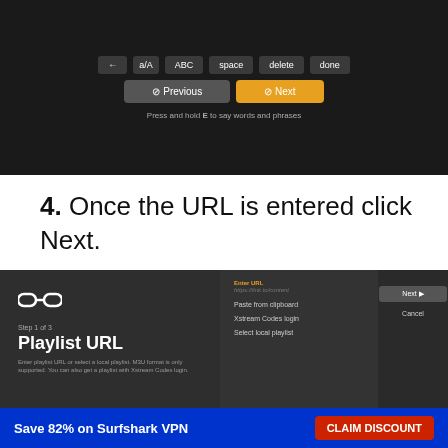[Figure (screenshot): Dark-themed keyboard/navigation screen with Previous and Next buttons and hint text 'Press and hold E to say words and phrases']
4. Once the URL is entered click Next.
[Figure (screenshot): Playlist URL setup screen showing Step 1 of 3 with chain link icon, Enter URL field, Paste from clipboard, Xstream Codes login, Select local playlist options, and Next/Cancel buttons]
Save 82% on Surfshark VPN   CLAIM DISCOUNT